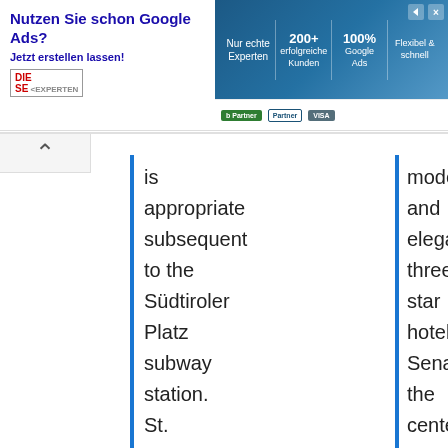[Figure (screenshot): Google Ads advertisement banner with 'Nutzen Sie schon Google Ads?' headline, 'Jetzt erstellen lassen!' subtitle, and statistics columns for '200+ erfolgreiche Kunden', '100% Google Ads', 'Nur echte Experten', 'Flexibel & schnell' on blue gradient background. Partner logos shown below.]
is appropriate subsequent to the Südtiroler Platz subway station. St. Stephen's Cathedral in central Vienna and numerous
modern and elegant three-star hotel Senator, the center of the city can be reached in 13 minutes with a direct